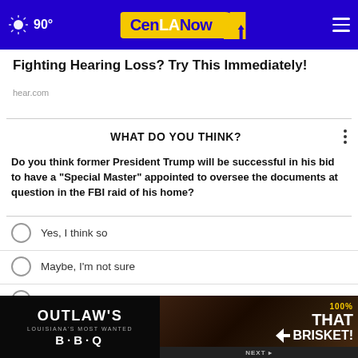90° CenLANow
Fighting Hearing Loss? Try This Immediately!
hear.com
WHAT DO YOU THINK?
Do you think former President Trump will be successful in his bid to have a "Special Master" appointed to oversee the documents at question in the FBI raid of his home?
Yes, I think so
Maybe, I'm not sure
No, I don't think so
Other / No opinion
[Figure (photo): Outlaw's Louisiana's Most Wanted BBQ advertisement banner with brisket food photo]